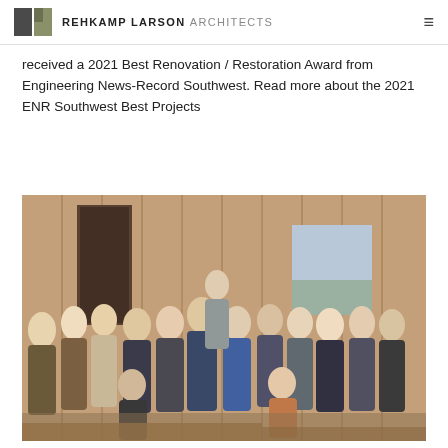REHKAMP LARSON ARCHITECTS
received a 2021 Best Renovation / Restoration Award from Engineering News-Record Southwest. Read more about the 2021 ENR Southwest Best Projects
[Figure (photo): Group photo of Rehkamp Larson Architects team members standing and kneeling inside a building under renovation with exposed wood plank walls, taken outdoors in winter clothing.]